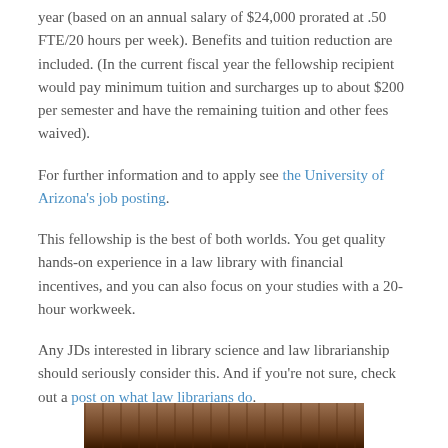year (based on an annual salary of $24,000 prorated at .50 FTE/20 hours per week). Benefits and tuition reduction are included. (In the current fiscal year the fellowship recipient would pay minimum tuition and surcharges up to about $200 per semester and have the remaining tuition and other fees waived).
For further information and to apply see the University of Arizona's job posting.
This fellowship is the best of both worlds. You get quality hands-on experience in a law library with financial incentives, and you can also focus on your studies with a 20-hour workweek.
Any JDs interested in library science and law librarianship should seriously consider this. And if you're not sure, check out a post on what law librarians do.
[Figure (photo): Partial view of a library or law library interior, showing dark wooden shelving or furniture at the bottom of the page.]